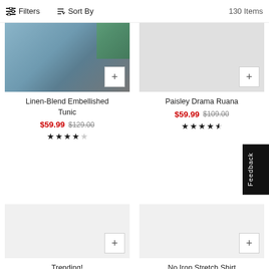Filters  Sort By  130 Items
[Figure (photo): Linen-Blend Embellished Tunic product thumbnail showing a person wearing the item]
Linen-Blend Embellished Tunic
$59.99  $129.00  ★★★★☆
[Figure (photo): Paisley Drama Ruana product thumbnail placeholder]
Paisley Drama Ruana
$59.99  $109.00  ★★★★½
[Figure (photo): Trending product thumbnail placeholder bottom left]
Trending!
[Figure (photo): No Iron Stretch Shirt product thumbnail placeholder bottom right]
No Iron Stretch Shirt
Starting At $39.99